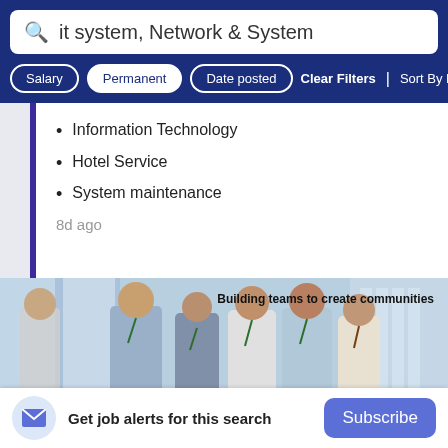it system, Network & System
Salary | Permanent | Date posted | Clear Filters | Sort By Rel
Information Technology
Hotel Service
System maintenance
8d ago
[Figure (photo): Group of smiling professionals in business casual attire with text 'Building teams to create communities']
Get job alerts for this search  Subscribe